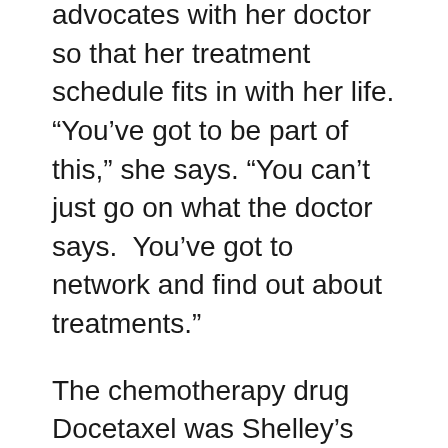advocates with her doctor so that her treatment schedule fits in with her life. “You’ve got to be part of this,” she says. “You can’t just go on what the doctor says.  You’ve got to network and find out about treatments.”
The chemotherapy drug Docetaxel was Shelley’s first treatment.  It made her so fatigued that she had to stay home for seven days after a round of treatment.  She also lost her hair.
Shelley says that her young age of 37 made her better able to tolerate